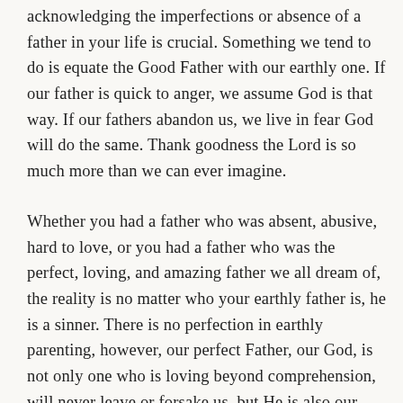acknowledging the imperfections or absence of a father in your life is crucial. Something we tend to do is equate the Good Father with our earthly one. If our father is quick to anger, we assume God is that way. If our fathers abandon us, we live in fear God will do the same. Thank goodness the Lord is so much more than we can ever imagine.
Whether you had a father who was absent, abusive, hard to love, or you had a father who was the perfect, loving, and amazing father we all dream of, the reality is no matter who your earthly father is, he is a sinner. There is no perfection in earthly parenting, however, our perfect Father, our God, is not only one who is loving beyond comprehension, will never leave or forsake us, but He is also our champion.